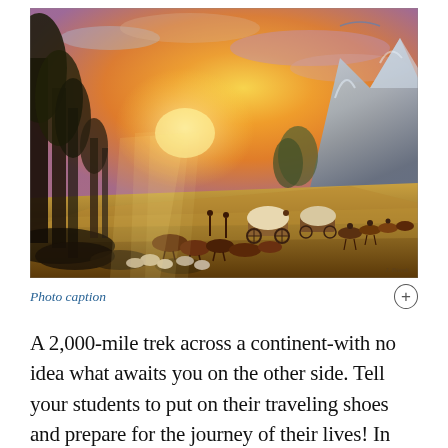[Figure (illustration): A 19th-century landscape oil painting depicting a wagon train crossing the American West at sunset. Covered wagons, horses, cattle, and travelers are shown in a vast valley with tall rocky mountains and glowing golden-orange sky in the background. Tall trees frame the left side of the scene.]
Photo caption
A 2,000-mile trek across a continent-with no idea what awaits you on the other side. Tell your students to put on their traveling shoes and prepare for the journey of their lives! In this lesson, students compare imagined travel